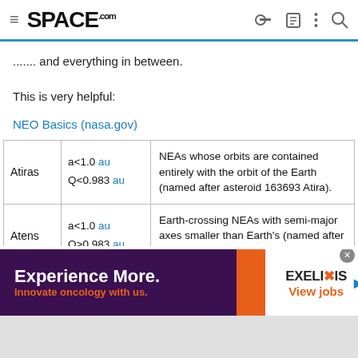SPACE.com
....... and everything in between.
This is very helpful:
NEO Basics (nasa.gov)
|  |  |  |
| --- | --- | --- |
| Atiras | a<1.0 au
Q<0.983 au | NEAs whose orbits are contained entirely with the orbit of the Earth (named after asteroid 163693 Atira). |
| Atens | a<1.0 au
Q>0.983 au | Earth-crossing NEAs with semi-major axes smaller than Earth's (named after asteroid 2062 Aten). |
|  |  | Earth-crossing NEAs with semi-major |